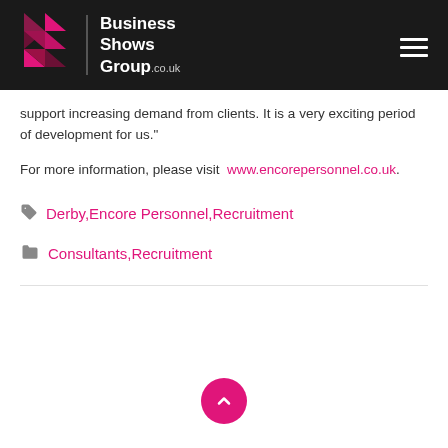Business Shows Group.co.uk
support increasing demand from clients. It is a very exciting period of development for us."
For more information, please visit www.encorepersonnel.co.uk.
Derby,Encore Personnel,Recruitment
Consultants,Recruitment